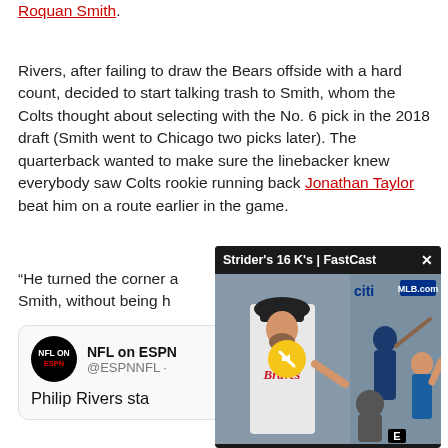Roquan Smith.
Rivers, after failing to draw the Bears offside with a hard count, decided to start talking trash to Smith, whom the Colts thought about selecting with the No. 6 pick in the 2018 draft (Smith went to Chicago two picks later). The quarterback wanted to make sure the linebacker knew everybody saw Colts rookie running back Jonathan Taylor beat him on a route earlier in the game.
“He turned the corner a… Smith, without being h…
[Figure (screenshot): Video overlay popup showing 'Strider's 16 K's | FastCast' with MLB.com branding, a Braves pitcher in white uniform on the left and a Mets batter on the right, with a yellow mute button in the center and a close (X) button in the top right.]
[Figure (screenshot): NFL on ESPN tweet box showing @ESPNNFL account with NFL on ESPN logo, partial tweet text 'Philip Rivers sta...']